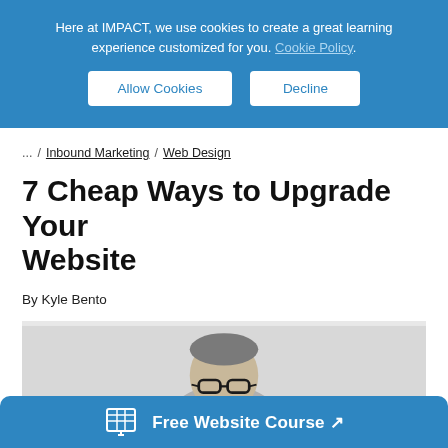Here at IMPACT, we use cookies to create a great learning experience customized for you. Cookie Policy.
Allow Cookies
Decline
... / Inbound Marketing / Web Design
7 Cheap Ways to Upgrade Your Website
By Kyle Bento
[Figure (photo): Partial view of a man with glasses and grey hair, peeking up from the bottom of the frame, against a light grey background.]
Free Website Course ↗